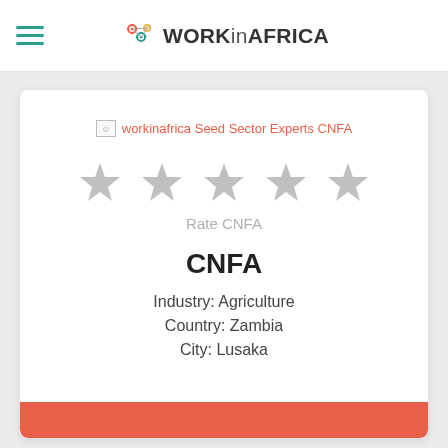WORKinAFRICA
[Figure (logo): WORKinAFRICA logo with gear/network icon in teal and orange next to bold text WORKinAFRICA]
[Figure (illustration): Broken image placeholder link labeled 'workinafrica Seed Sector Experts CNFA' in coral/orange color]
[Figure (infographic): Five gray star rating icons in a row for rating CNFA]
Rate CNFA
CNFA
Industry: Agriculture
Country: Zambia
City: Lusaka